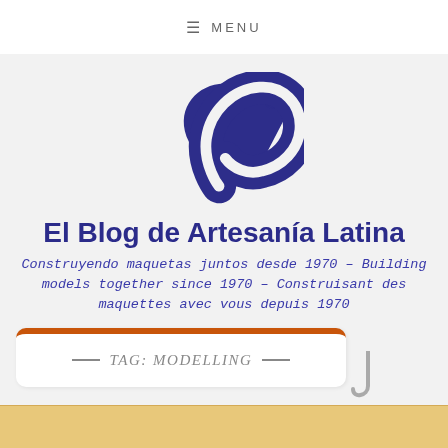≡ MENU
[Figure (logo): Artesanía Latina swoosh logo in dark navy blue]
El Blog de Artesanía Latina
Construyendo maquetas juntos desde 1970 – Building models together since 1970 – Construisant des maquettes avec vous depuis 1970
TAG: MODELLING